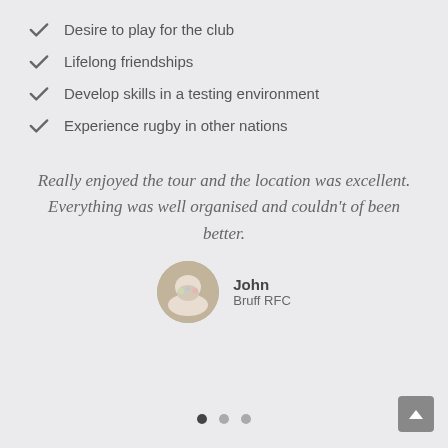Desire to play for the club
Lifelong friendships
Develop skills in a testing environment
Experience rugby in other nations
Really enjoyed the tour and the location was excellent. Everything was well organised and couldn't of been better.
John
Bruff RFC